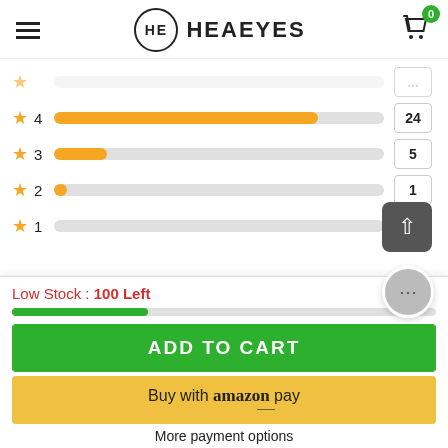HEAEYES
[Figure (bar-chart): Star ratings distribution]
Low Stock : 100 Left
ADD TO CART
Buy with amazon pay
More payment options